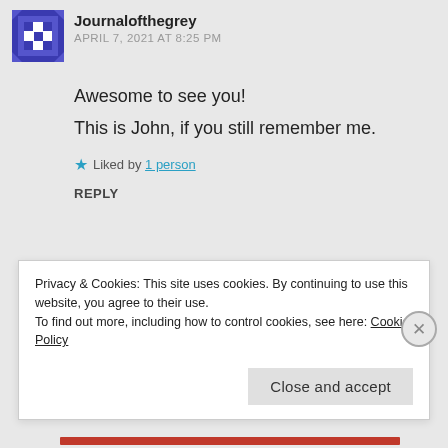Journalofthegrey
APRIL 7, 2021 AT 8:25 PM
Awesome to see you!
This is John, if you still remember me.
Liked by 1 person
REPLY
[Figure (illustration): Blue decorative quilt-pattern avatar icon for Journalofthegrey]
[Figure (illustration): Gold/brown decorative quilt-pattern avatar icon for Laundry and Dishes]
Laundry and Dishes
APRIL 8, 2021 AT 11:43 AM
Privacy & Cookies: This site uses cookies. By continuing to use this website, you agree to their use.
To find out more, including how to control cookies, see here: Cookie Policy
Close and accept